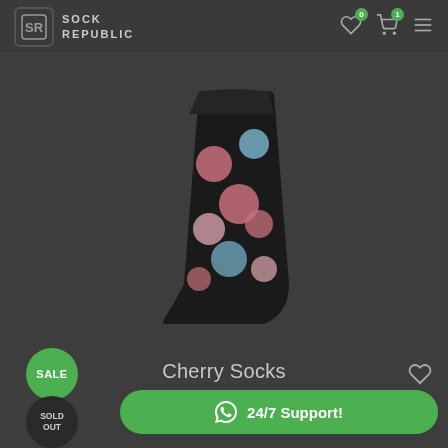[Figure (screenshot): Sock Republic e-commerce website screenshot showing a product page for Cherry Socks with dark background theme]
SOCK REPUBLIC - navigation header with logo, wishlist (0), cart (1), and menu icons
[Figure (photo): Dark colored sock with cherry/dot pattern on a dark background]
Cherry Socks
₹399  ₹349
Add To Cart
SALE
SOLD OUT
24/7 Support!